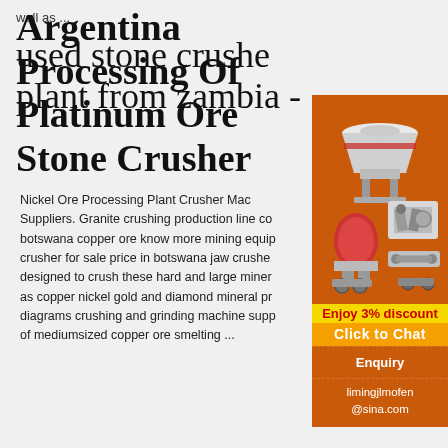well as ...
Argentina Processing Of Platinum Ore Stone Crusher
Nickel Ore Processing Plant Crusher Mac Suppliers. Granite crushing production line co botswana copper ore know more mining equip crusher for sale price in botswana jaw crushe designed to crush these hard and large miner as copper nickel gold and diamond mineral pr diagrams crushing and grinding machine supp of mediumsized copper ore smelting ...
[Figure (photo): Orange sidebar advertisement showing mining/crushing equipment machines with text: Enjoy 3% discount, Click to Chat, Enquiry, limingjlmofen@sina.com]
used stone crushe plant from zambia -